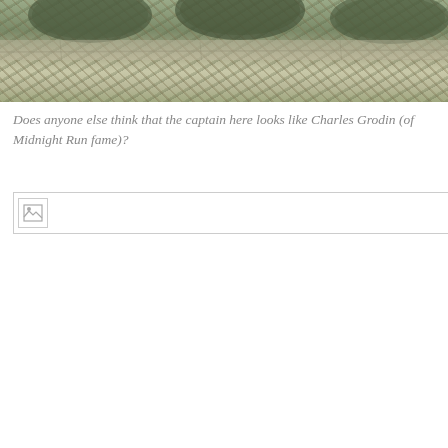[Figure (photo): Close-up photo of rounded stone or metal objects covered in grit/texture, placed on a stone or concrete surface. The objects appear dark green/grey and encrusted with granular material.]
Does anyone else think that the captain here looks like Charles Grodin (of Midnight Run fame)?
[Figure (photo): Broken/missing image placeholder icon]